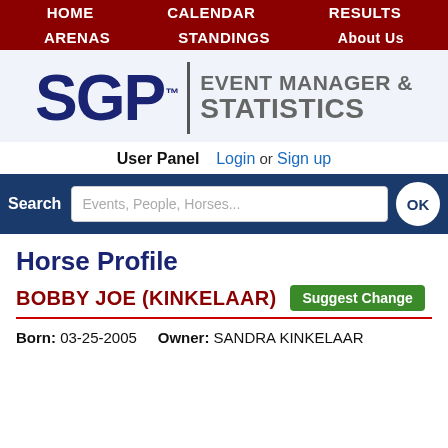HOME  CALENDAR  RESULTS  ARENAS  STANDINGS  About Us
[Figure (logo): SGP Event Manager & Statistics logo with blue SGP text and gray tagline]
User Panel  Login or Sign up
Search  Events, People, Horses...  OK
Horse Profile
BOBBY JOE (KINKELAAR)
Born: 03-25-2005   Owner: SANDRA KINKELAAR